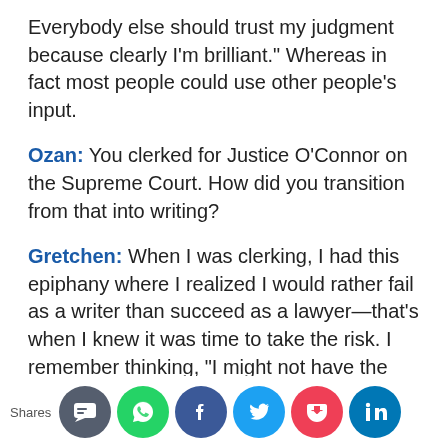Everybody else should trust my judgment because clearly I’m brilliant.” Whereas in fact most people could use other people’s input.
Ozan: You clerked for Justice O’Connor on the Supreme Court. How did you transition from that into writing?
Gretchen: When I was clerking, I had this epiphany where I realized I would rather fail as a writer than succeed as a lawyer—that’s when I knew it was time to take the risk. I remember thinking, “I might not have the guts to do this if I wait. I’ve got an idea. I want to do it. This is the
[Figure (other): Social share bar with Shares label and six circular social media icon buttons: SMS (grey), WhatsApp (green), Facebook (dark blue), Twitter (light blue), Pocket (red), LinkedIn (blue)]